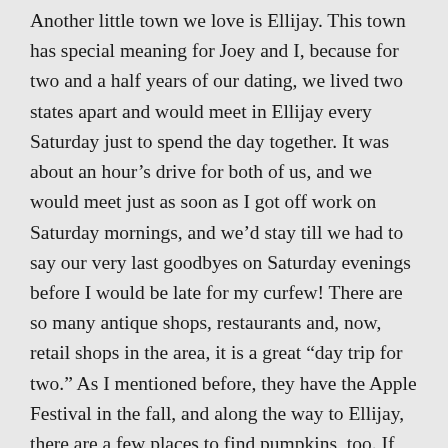Another little town we love is Ellijay. This town has special meaning for Joey and I, because for two and a half years of our dating, we lived two states apart and would meet in Ellijay every Saturday just to spend the day together. It was about an hour's drive for both of us, and we would meet just as soon as I got off work on Saturday mornings, and we'd stay till we had to say our very last goodbyes on Saturday evenings before I would be late for my curfew! There are so many antique shops, restaurants and, now, retail shops in the area, it is a great “day trip for two.” As I mentioned before, they have the Apple Festival in the fall, and along the way to Ellijay, there are a few places to find pumpkins, too. If you'd like to take a nice hike, or simply drive to see a beautiful waterfall, Amicalola Falls is not too far from the downtown, and if you need a Walmart, Longhorns or a few other more “modern” conveniences, they’ve got